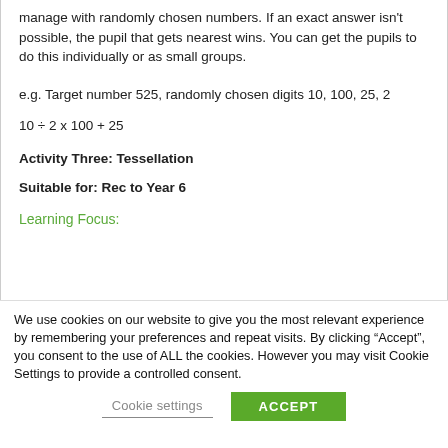manage with randomly chosen numbers. If an exact answer isn't possible, the pupil that gets nearest wins. You can get the pupils to do this individually or as small groups.
e.g. Target number 525, randomly chosen digits 10, 100, 25, 2
Activity Three: Tessellation
Suitable for: Rec to Year 6
Learning Focus:
We use cookies on our website to give you the most relevant experience by remembering your preferences and repeat visits. By clicking “Accept”, you consent to the use of ALL the cookies. However you may visit Cookie Settings to provide a controlled consent.
Cookie settings
ACCEPT